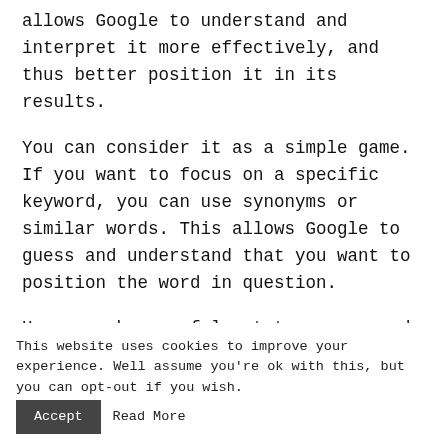allows Google to understand and interpret it more effectively, and thus better position it in its results.
You can consider it as a simple game. If you want to focus on a specific keyword, you can use synonyms or similar words. This allows Google to guess and understand that you want to position the word in question.
However, be careful not to use a word very
This website uses cookies to improve your experience. Well assume you're ok with this, but you can opt-out if you wish.